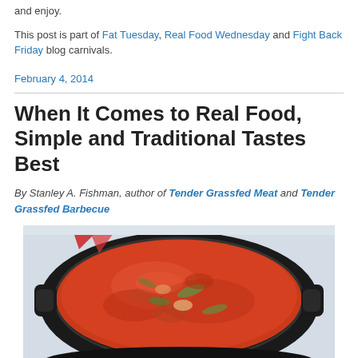and enjoy.
This post is part of Fat Tuesday, Real Food Wednesday and Fight Back Friday blog carnivals.
February 4, 2014
When It Comes to Real Food, Simple and Traditional Tastes Best
By Stanley A. Fishman, author of Tender Grassfed Meat and Tender Grassfed Barbecue
[Figure (photo): A cast iron Dutch oven filled with red tomato-based stew containing vegetables and meat, viewed from above, against a light blue/white background.]